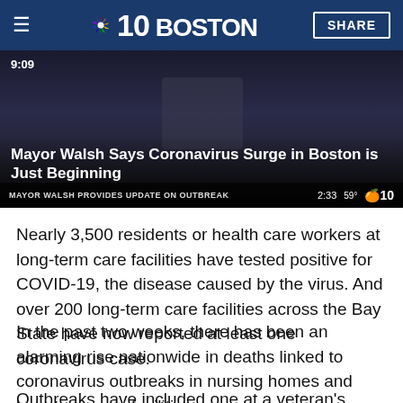NBC10 BOSTON | SHARE
[Figure (screenshot): Video thumbnail showing Mayor Walsh COVID press conference. Timestamp 9:09. Lower bar text: MAYOR WALSH PROVIDES UPDATE ON OUTBREAK. Duration 2:33. NBC10 logo.]
Mayor Walsh Says Coronavirus Surge in Boston is Just Beginning
Nearly 3,500 residents or health care workers at long-term care facilities have tested positive for COVID-19, the disease caused by the virus. And over 200 long-term care facilities across the Bay State have now reported at least one coronavirus case.
In the past two weeks, there has been an alarming rise nationwide in deaths linked to coronavirus outbreaks in nursing homes and long-term care facilities.
Outbreaks have included one at a veteran's home in Holyoke, Ma... that has killed 68. ...reported Mon...